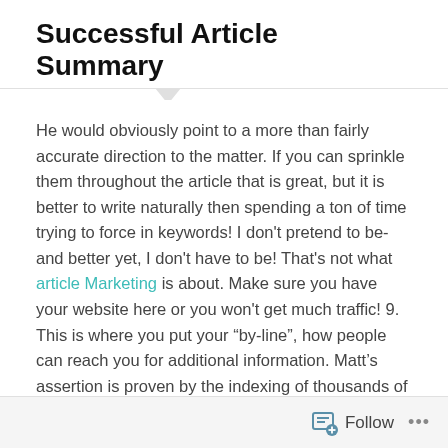Successful Article Summary
He would obviously point to a more than fairly accurate direction to the matter. If you can sprinkle them throughout the article that is great, but it is better to write naturally then spending a ton of time trying to force in keywords! I don't pretend to be-and better yet, I don't have to be! That's not what article Marketing is about. Make sure you have your website here or you won't get much traffic! 9. This is where you put your “by-line”, how people can reach you for additional information. Matt’s assertion is proven by the indexing of thousands of the same content in different domains
Article marketing has been around way before online
Follow ...